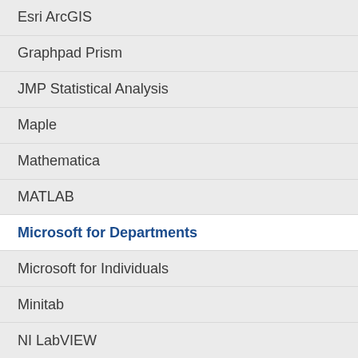Esri ArcGIS
Graphpad Prism
JMP Statistical Analysis
Maple
Mathematica
MATLAB
Microsoft for Departments
Microsoft for Individuals
Minitab
NI LabVIEW